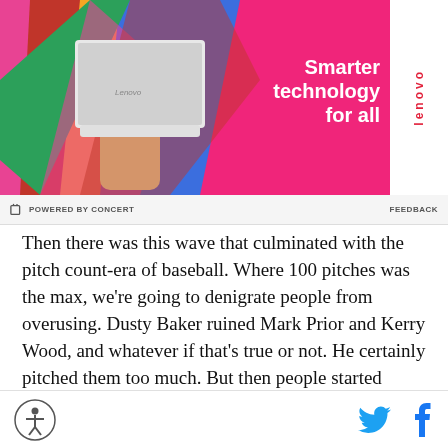[Figure (photo): Lenovo advertisement banner with pink background, person holding a white laptop wearing colorful clothing, Lenovo logo on white panel on the right, text reads 'Smarter technology for all']
POWERED BY CONCERT   FEEDBACK
Then there was this wave that culminated with the pitch count-era of baseball. Where 100 pitches was the max, we're going to denigrate people from overusing. Dusty Baker ruined Mark Prior and Kerry Wood, and whatever if that's true or not. He certainly pitched them too much. But then people started thinking that we have to protect arms, and a lot of the training moved in that direction, too.
[Figure (logo): Accessibility/AD logo circle icon on lower left, Twitter bird icon and Facebook F icon on lower right]